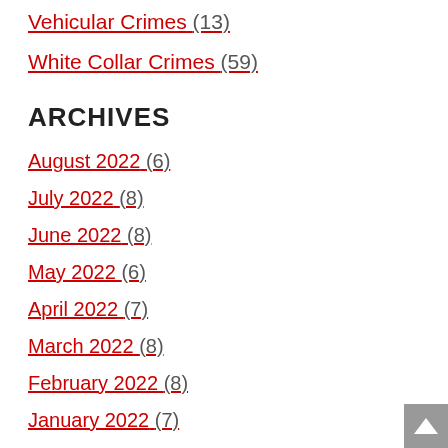Vehicular Crimes (13)
White Collar Crimes (59)
ARCHIVES
August 2022 (6)
July 2022 (8)
June 2022 (8)
May 2022 (6)
April 2022 (7)
March 2022 (8)
February 2022 (8)
January 2022 (7)
December 2021 (9)
November 2021 (5)